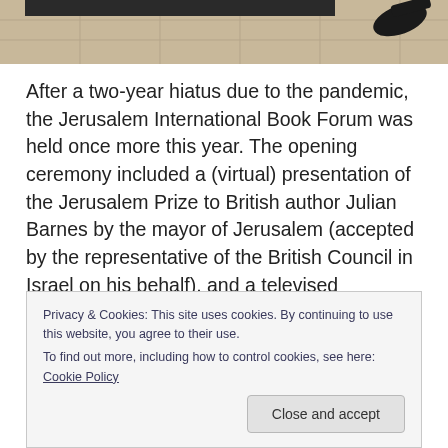[Figure (photo): Partial photo showing a tiled floor with a dark mat/bar and a shoe visible at top right edge]
After a two-year hiatus due to the pandemic, the Jerusalem International Book Forum was held once more this year. The opening ceremony included a (virtual) presentation of the Jerusalem Prize to British author Julian Barnes by the mayor of Jerusalem (accepted by the representative of the British Council in Israel on his behalf), and a televised acceptance speech by Julian Barnes himself (who was prevented by il-health from making the journey).
Privacy & Cookies: This site uses cookies. By continuing to use this website, you agree to their use.
To find out more, including how to control cookies, see here: Cookie Policy
Close and accept